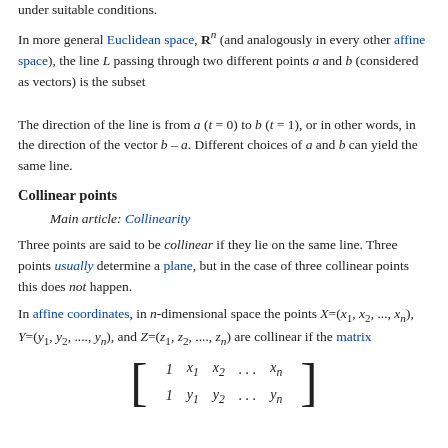under suitable conditions.
In more general Euclidean space, R^n (and analogously in every other affine space), the line L passing through two different points a and b (considered as vectors) is the subset
The direction of the line is from a (t = 0) to b (t = 1), or in other words, in the direction of the vector b – a. Different choices of a and b can yield the same line.
Collinear points
Main article: Collinearity
Three points are said to be collinear if they lie on the same line. Three points usually determine a plane, but in the case of three collinear points this does not happen.
In affine coordinates, in n-dimensional space the points X=(x1, x2, ..., xn), Y=(y1, y2, ..., yn), and Z=(z1, z2, ..., zn) are collinear if the matrix